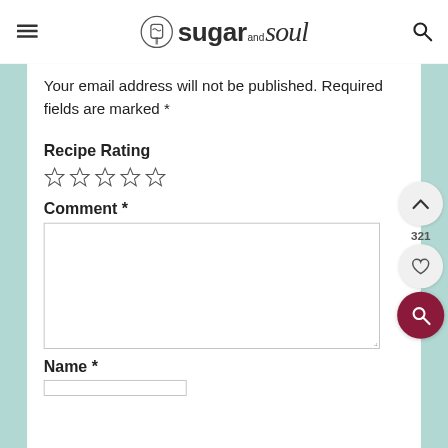[Figure (logo): Sugar and Soul logo with popsicle icon and stylized text]
Your email address will not be published. Required fields are marked *
Recipe Rating
[Figure (other): Five empty star rating icons]
Comment *
[Comment text area input box]
Name *
[Name input field]